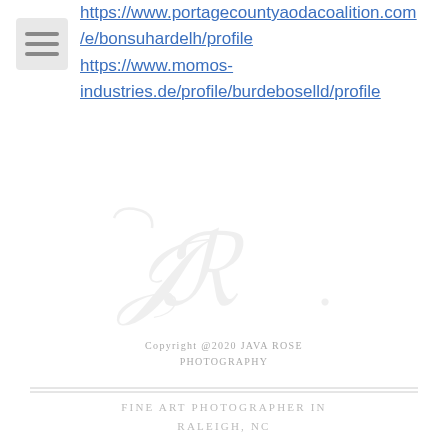https://www.portagecountyaodacoalition.com/e/bonsuhardelh/profile
https://www.momos-industries.de/profile/burdeboselld/profile
[Figure (logo): Watermark logo with cursive JR initials and script styling, very light gray]
Copyright @2020 JAVA ROSE PHOTOGRAPHY
FINE ART PHOTOGRAPHER IN RALEIGH, NC